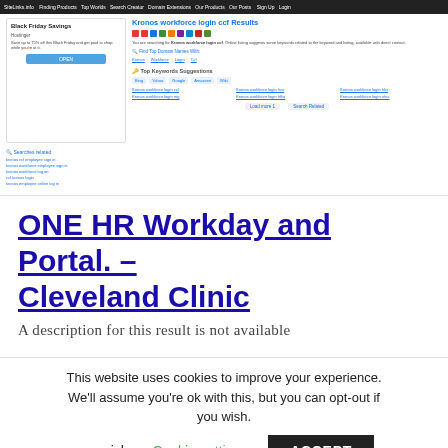[Figure (screenshot): Screenshot of SiteLinks.info search results page showing 'Kronos workforce login ccf Results' with a Black Friday Savings advertisement on the left, keyword suggestions, top keywords, and search-related links.]
ONE HR Workday and Portal. – Cleveland Clinic
A description for this result is not available
This website uses cookies to improve your experience. We'll assume you're ok with this, but you can opt-out if you wish. Cookie settings  ACCEPT